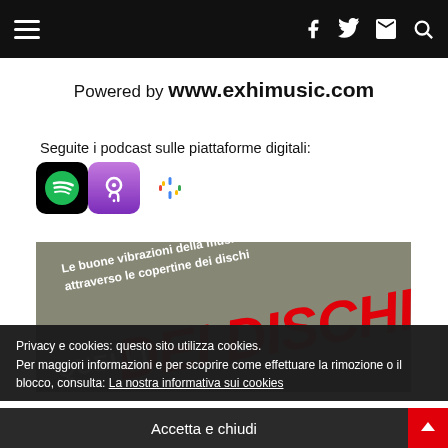Navigation bar with hamburger menu and social icons (Facebook, Twitter, Mail, Search)
Powered by www.exhimusic.com
Seguite i podcast sulle piattaforme digitali:
[Figure (logo): Spotify, Apple Podcasts, and Google Podcasts icons]
[Figure (photo): Banner with grey background, white italic text 'Le buone vibrazioni della musica attraverso le copertine dei dischi', large red italic text 'DEI DISCHI', partial white text 'QUELLI']
Privacy e cookies: questo sito utilizza cookies.
Per maggiori informazioni e per scoprire come effettuare la rimozione o il blocco, consulta: La nostra informativa sui cookies
Accetta e chiudi